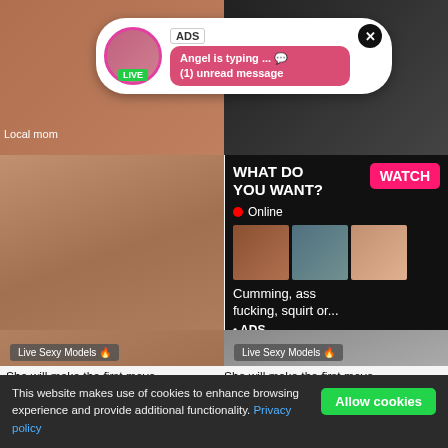[Figure (screenshot): Adult website screenshot with live cam thumbnails in background, pink popup ad overlay showing 'ADS Angel is typing... (1) unread message' with avatar and LIVE badge, center ad panel with 'WHAT DO YOU WANT? WATCH Online' and thumbnail images, text 'Cumming, ass fucking, squirt or... ADS', Live Sexy Models banners, 'She will make the first move / Flirt4Free' text, and cookie consent banner at bottom.]
ADS
Angel is typing ... 💬
(1) unread message
Local mom
Just se
meet-n
WHAT DO YOU WANT?
WATCH
Online
Cumming, ass fucking, squirt or...
• ADS
Live Sexy Models 🔥
Live Sexy Models 🔥
She will make the first move
She will make the first move
Flirt4Free
Flirt4Free
This website makes use of cookies to enhance browsing experience and provide additional functionality. Privacy policy
Allow cookies